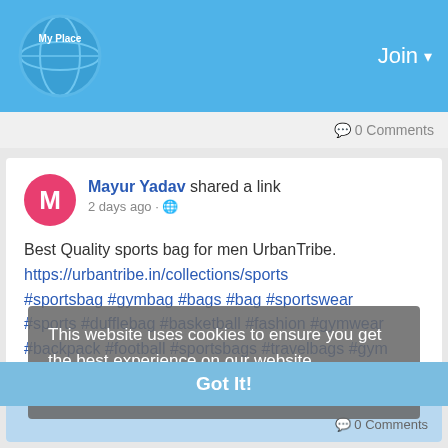My Place — Join
0 Comments
Mayur Yadav shared a link
2 days ago
Best Quality sports bag for men UrbanTribe.
https://urbantribe.in/collections/sports
#sportsbag #gymbag #bags #bag #sportswear
#sports #dufflebag #basketball #fashion #gymwear
#backpack #football #sportsbags #travelbags #gym
Read more
https://urbantribe.in/collections/sports.oembedded
This website uses cookies to ensure you get the best experience on our website
Learn More
Got It!
0 Comments